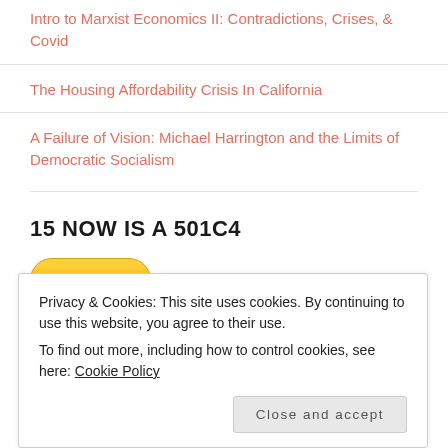Intro to Marxist Economics II: Contradictions, Crises, & Covid
The Housing Affordability Crisis In California
A Failure of Vision: Michael Harrington and the Limits of Democratic Socialism
15 NOW IS A 501C4
[Figure (other): PayPal Donate button with yellow rounded rectangle background and bold black Donate text]
Privacy & Cookies: This site uses cookies. By continuing to use this website, you agree to their use.
To find out more, including how to control cookies, see here: Cookie Policy
Close and accept